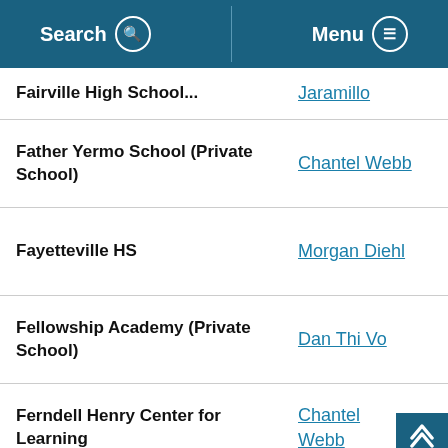Search | Menu
| School | Contact |
| --- | --- |
| Fairview High School (partial) | Jaramillo |
| Father Yermo School (Private School) | Chantel Webb |
| Fayetteville HS | Morgan Diehl |
| Fellowship Academy (Private School) | Dan Thi Vo |
| Ferndell Henry Center for Learning | Chantel Webb |
| (next school, partial) | Dan Thi |